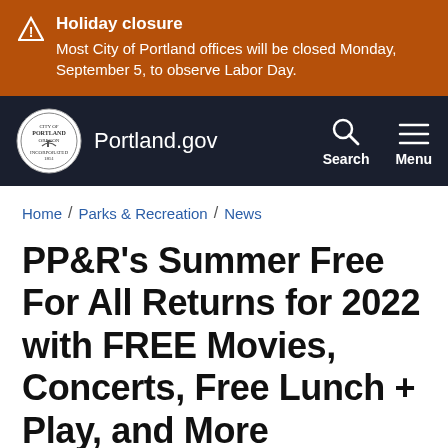Holiday closure — Most City of Portland offices will be closed Monday, September 5, to observe Labor Day.
Portland.gov
Home / Parks & Recreation / News
PP&R's Summer Free For All Returns for 2022 with FREE Movies, Concerts, Free Lunch + Play, and More
News Article
Free, family-friendly, and fun activities and